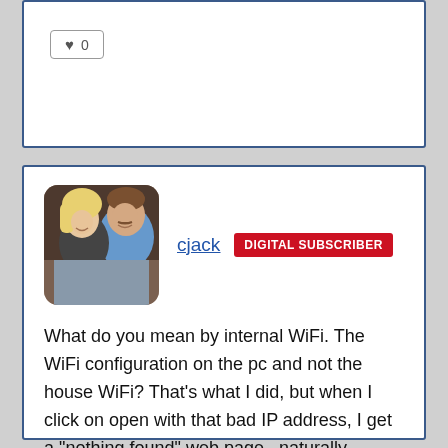[Figure (other): Like/vote button showing heart icon and count 0, top comment card]
[Figure (photo): Profile photo of a couple, woman with blonde hair and man, rounded corners]
cjack  DIGITAL SUBSCRIBER
What do you mean by internal WiFi. The WiFi configuration on the pc and not the house WiFi? That’s what I did, but when I click on open with that bad IP address, I get a “nothing found” web page...naturally.
3/9/19 @ 3:33 PM
[Figure (other): Like/vote button showing heart icon and count 0, main comment card]